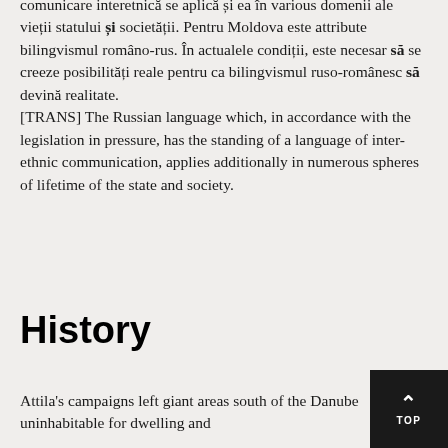comunicare interetnică se aplică și ea în various domenii ale vieții statului și societății. Pentru Moldova este attribute bilingvismul româno-rus. În actualele condiții, este necesar să se creeze posibilități reale pentru ca bilingvismul ruso-românesc să devină realitate. [TRANS] The Russian language which, in accordance with the legislation in pressure, has the standing of a language of inter-ethnic communication, applies additionally in numerous spheres of lifetime of the state and society.
History
Attila's campaigns left giant areas south of the Danube uninhabitable for dwelling and...